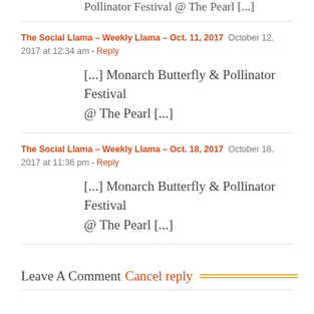Pollinator Festival @ The Pearl [...]
The Social Llama – Weekly Llama – Oct. 11, 2017  October 12, 2017 at 12:34 am - Reply
[...] Monarch Butterfly & Pollinator Festival @ The Pearl [...]
The Social Llama – Weekly Llama – Oct. 18, 2017  October 18, 2017 at 11:36 pm - Reply
[...] Monarch Butterfly & Pollinator Festival @ The Pearl [...]
Leave A Comment Cancel reply